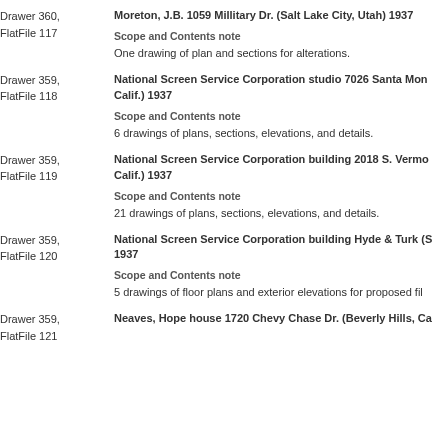Drawer 360, FlatFile 117
Moreton, J.B. 1059 Millitary Dr. (Salt Lake City, Utah) 1937
Scope and Contents note
One drawing of plan and sections for alterations.
Drawer 359, FlatFile 118
National Screen Service Corporation studio 7026 Santa Mon Calif.) 1937
Scope and Contents note
6 drawings of plans, sections, elevations, and details.
Drawer 359, FlatFile 119
National Screen Service Corporation building 2018 S. Vermo Calif.) 1937
Scope and Contents note
21 drawings of plans, sections, elevations, and details.
Drawer 359, FlatFile 120
National Screen Service Corporation building Hyde & Turk (S 1937
Scope and Contents note
5 drawings of floor plans and exterior elevations for proposed fil
Drawer 359, FlatFile 121
Neaves, Hope house 1720 Chevy Chase Dr. (Beverly Hills, Ca